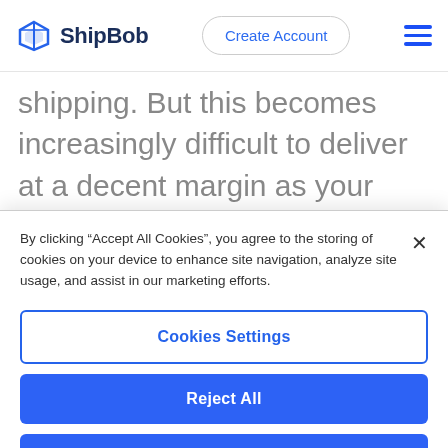ShipBob | Create Account | [menu]
shipping. But this becomes increasingly difficult to deliver at a decent margin as your shipping volume grows and your customer base spreads across the country. The further a package must travel, the more
By clicking “Accept All Cookies”, you agree to the storing of cookies on your device to enhance site navigation, analyze site usage, and assist in our marketing efforts.
Cookies Settings
Reject All
Accept All Cookies